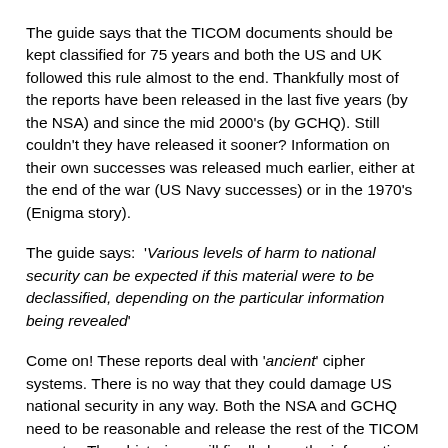The guide says that the TICOM documents should be kept classified for 75 years and both the US and UK followed this rule almost to the end. Thankfully most of the reports have been released in the last five years (by the NSA) and since the mid 2000's (by GCHQ). Still couldn't they have released it sooner? Information on their own successes was released much earlier, either at the end of the war (US Navy successes) or in the 1970's (Enigma story).
The guide says:  'Various levels of harm to national security can be expected if this material were to be declassified, depending on the particular information being revealed'
Come on! These reports deal with 'ancient' cipher systems. There is no way that they could damage US national security in any way. Both the NSA and GCHQ need to be reasonable and release the rest of the TICOM reports.  Then historians will finally have the information they need to write a balanced account of Axis and Allied signals intelligence operations in WWII.